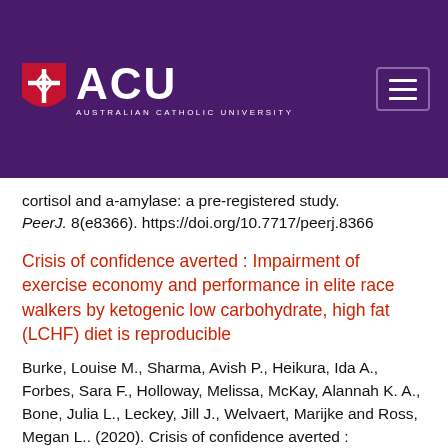[Figure (logo): Australian Catholic University (ACU) logo with shield emblem and hamburger menu button on purple header background]
cortisol and a-amylase: a pre-registered study. PeerJ. 8(e8366). https://doi.org/10.7717/peerj.8366
Crisis of confidence averted : Impairment of exercise economy and performance in elite race walkers by ketogenic low carbohydrate, high fat (LCHF) diet is reproducible
Burke, Louise M., Sharma, Avish P., Heikura, Ida A., Forbes, Sara F., Holloway, Melissa, McKay, Alannah K. A., Bone, Julia L., Leckey, Jill J., Welvaert, Marijke and Ross, Megan L.. (2020). Crisis of confidence averted : Impairment of exercise economy and performance in elite race walkers by ketogenic low carbohydrate, high fat (LCHF) diet is reproducible